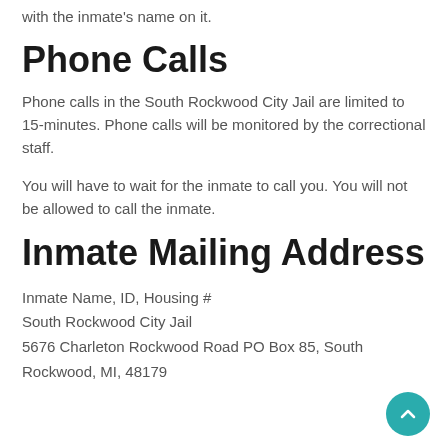with the inmate's name on it.
Phone Calls
Phone calls in the South Rockwood City Jail are limited to 15-minutes. Phone calls will be monitored by the correctional staff.
You will have to wait for the inmate to call you. You will not be allowed to call the inmate.
Inmate Mailing Address
Inmate Name, ID, Housing #
South Rockwood City Jail
5676 Charleton Rockwood Road PO Box 85, South Rockwood, MI, 48179